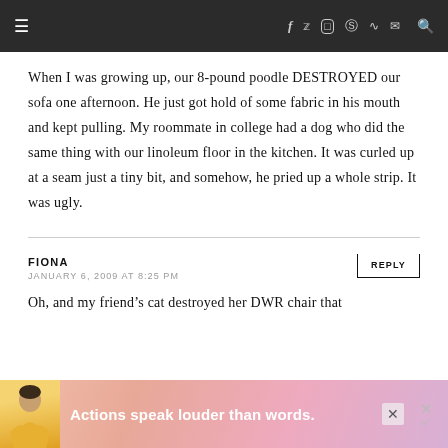Navigation bar with hamburger menu, social icons (f, twitter, instagram, pinterest, rss, email), and search
When I was growing up, our 8-pound poodle DESTROYED our sofa one afternoon. He just got hold of some fabric in his mouth and kept pulling. My roommate in college had a dog who did the same thing with our linoleum floor in the kitchen. It was curled up at a seam just a tiny bit, and somehow, he pried up a whole strip. It was ugly.
FIONA
JANUARY 6, 2009 AT 8:25 PM
[REPLY]
Oh, and my friend’s cat destroyed her DWR chair that
[Figure (infographic): Advertisement banner: person with yellow shirt, text 'Actions speak louder than words.' on pink/mauve gradient background, with close X button]